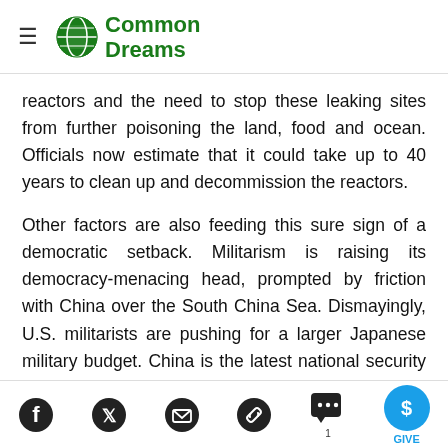Common Dreams
reactors and the need to stop these leaking sites from further poisoning the land, food and ocean. Officials now estimate that it could take up to 40 years to clean up and decommission the reactors.
Other factors are also feeding this sure sign of a democratic setback. Militarism is raising its democracy-menacing head, prompted by friction with China over the South China Sea. Dismayingly, U.S. militarists are pushing for a larger Japanese military budget. China is the latest national security justification for our “pivot to East Asia” provoked in part by our military-industrial complex.
Social share icons: Facebook, Twitter, Email, Link, Comments (1), Give